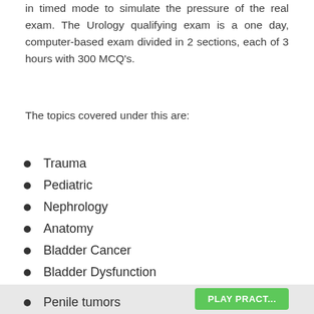in timed mode to simulate the pressure of the real exam. The Urology qualifying exam is a one day, computer-based exam divided in 2 sections, each of 3 hours with 300 MCQ's.
The topics covered under this are:
Trauma
Pediatric
Nephrology
Anatomy
Bladder Cancer
Bladder Dysfunction
Embryology
Penile tumors